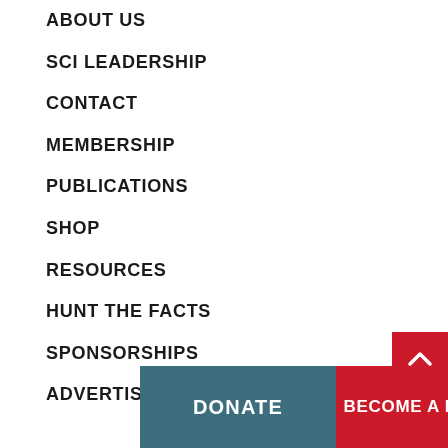ABOUT US
SCI LEADERSHIP
CONTACT
MEMBERSHIP
PUBLICATIONS
SHOP
RESOURCES
HUNT THE FACTS
SPONSORSHIPS
ADVERTISING
DONATE
BECOME A MEMBER